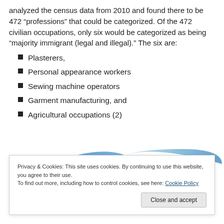analyzed the census data from 2010 and found there to be 472 “professions” that could be categorized. Of the 472 civilian occupations, only six would be categorized as being “majority immigrant (legal and illegal).” The six are:
Plasterers,
Personal appearance workers
Sewing machine operators
Garment manufacturing, and
Agricultural occupations (2)
[Figure (illustration): Partial view of a decorative wave/swoosh graphic in blue and light blue]
Privacy & Cookies: This site uses cookies. By continuing to use this website, you agree to their use.
To find out more, including how to control cookies, see here: Cookie Policy
Close and accept